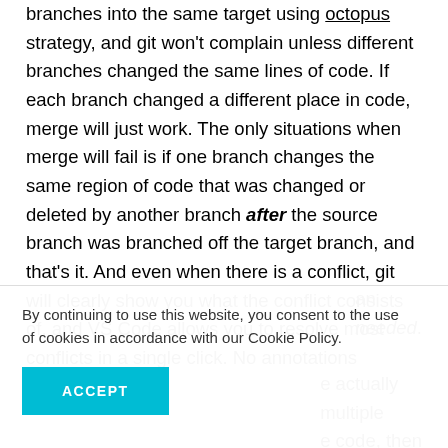branches into the same target using octopus strategy, and git won't complain unless different branches changed the same lines of code. If each branch changed a different place in code, merge will just work. The only situations when merge will fail is if one branch changes the same region of code that was changed or deleted by another branch after the source branch was branched off the target branch, and that's it. And even when there is a conflict, git will clearly show you what the conflict consists of, and VS Code allows you to resolve most conflicts in a single click. No annotations needed.
By continuing to use this website, you consent to the use of cookies in accordance with our Cookie Policy.
ACCEPT
an needed.
e actually multiple e code, then